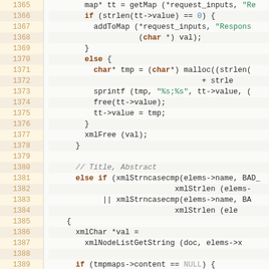[Figure (screenshot): Source code viewer showing C code lines 1365-1391 with line numbers in orange on left and code on right with syntax highlighting]